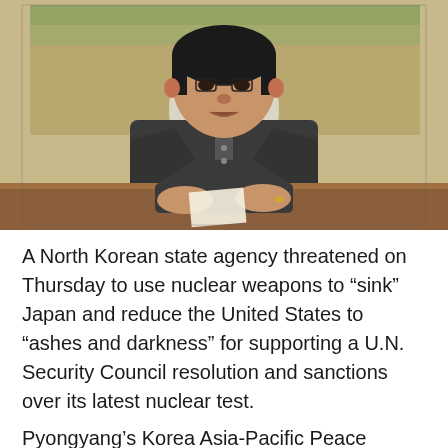[Figure (photo): A man in a dark suit sitting at a wooden table, holding papers, with a decorative background]
A North Korean state agency threatened on Thursday to use nuclear weapons to “sink” Japan and reduce the United States to “ashes and darkness” for supporting a U.N. Security Council resolution and sanctions over its latest nuclear test.
Pyongyang’s Korea Asia-Pacific Peace Committee,